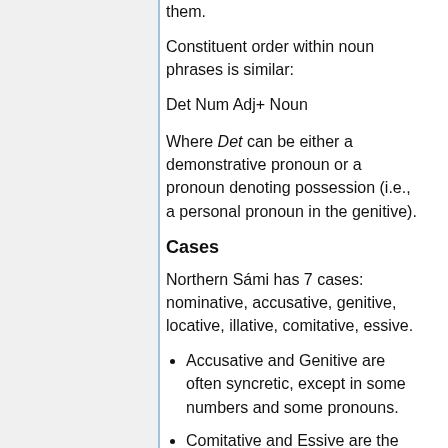them.
Constituent order within noun phrases is similar:
Det Num Adj+ Noun
Where Det can be either a demonstrative pronoun or a pronoun denoting possession (i.e., a personal pronoun in the genitive).
Cases
Northern Sámi has 7 cases: nominative, accusative, genitive, locative, illative, comitative, essive.
Accusative and Genitive are often syncretic, except in some numbers and some pronouns.
Comitative and Essive are the same in singular and plural
Finnish has 15 cases (and several